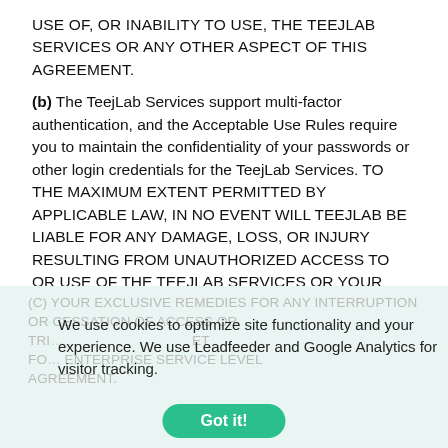USE OF, OR INABILITY TO USE, THE TEEJLAB SERVICES OR ANY OTHER ASPECT OF THIS AGREEMENT.
(b) The TeejLab Services support multi-factor authentication, and the Acceptable Use Rules require you to maintain the confidentiality of your passwords or other login credentials for the TeejLab Services. TO THE MAXIMUM EXTENT PERMITTED BY APPLICABLE LAW, IN NO EVENT WILL TEEJLAB BE LIABLE FOR ANY DAMAGE, LOSS, OR INJURY RESULTING FROM UNAUTHORIZED ACCESS TO OR USE OF THE TEEJLAB SERVICES OR YOUR ACCOUNT OR THE CONTENT OR INFORMATION CONTAINED THEREIN.
(c) YOUR EXCLUSIVE REMEDIES FOR ANY INTERRUPTION OR CESSATION OF ACCESS OR... REFER TO THE ENTERPRISE SERVICE LEVEL AGREEMENT.
We use cookies to optimize site functionality and your experience. We use Leadfeeder and Google Analytics for visitor tracking.
Got it!